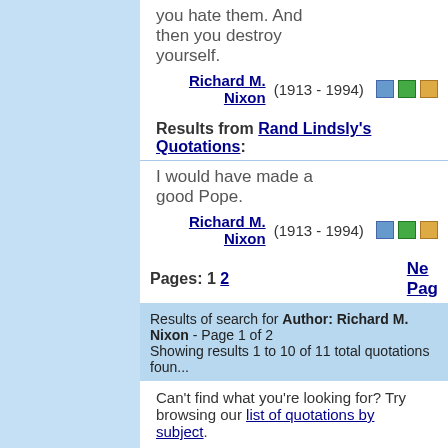you hate them. And then you destroy yourself.
Richard M. Nixon (1913 - 1994)
Results from Rand Lindsly's Quotations:
I would have made a good Pope.
Richard M. Nixon (1913 - 1994)
Pages: 1 2   Next Page
Results of search for Author: Richard M. Nixon - Page 1 of 2
Showing results 1 to 10 of 11 total quotations foun...
Can't find what you're looking for? Try browsing our list of quotations by subject.